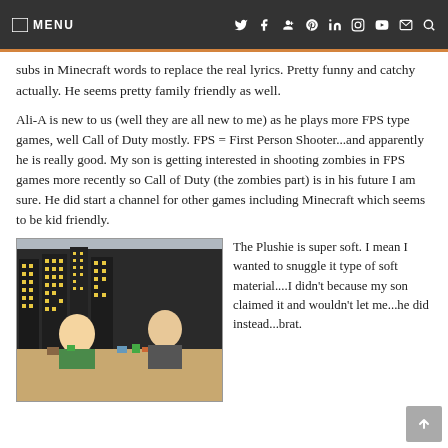MENU [navigation icons: twitter, facebook, google+, pinterest, linkedin, instagram, youtube, email, search]
subs in Minecraft words to replace the real lyrics. Pretty funny and catchy actually. He seems pretty family friendly as well.
Ali-A is new to us (well they are all new to me) as he plays more FPS type games, well Call of Duty mostly. FPS = First Person Shooter...and apparently he is really good. My son is getting interested in shooting zombies in FPS games more recently so Call of Duty (the zombies part) is in his future I am sure. He did start a channel for other games including Minecraft which seems to be kid friendly.
[Figure (photo): Two boys sitting at a table with Minecraft toys and figurines, with a city skyline backdrop made of cardboard.]
The Plushie is super soft. I mean I wanted to snuggle it type of soft material....I didn't because my son claimed it and wouldn't let me...he did instead...brat.